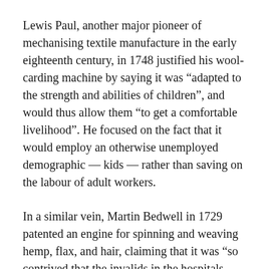Lewis Paul, another major pioneer of mechanising textile manufacture in the early eighteenth century, in 1748 justified his wool-carding machine by saying it was “adapted to the strength and abilities of children”, and would thus allow them “to get a comfortable livelihood”. He focused on the fact that it would employ an otherwise unemployed demographic — kids — rather than saving on the labour of adult workers.
In a similar vein, Martin Bedwell in 1729 patented an engine for spinning and weaving hemp, flax, and hair, claiming that it was “so contrived that the invalids in the hospitals, forts, guards, and garrisons may be employed in spinning and weaving linen cloth for tents, sails, sheeting, and shirting”. It would put the idle hands of sick and wounded soldiers to good use, and would